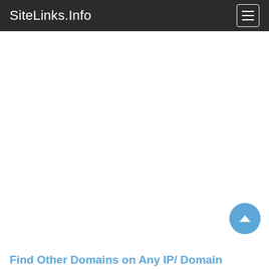SiteLinks.Info
Find Other Domains on Any IP/ Domain